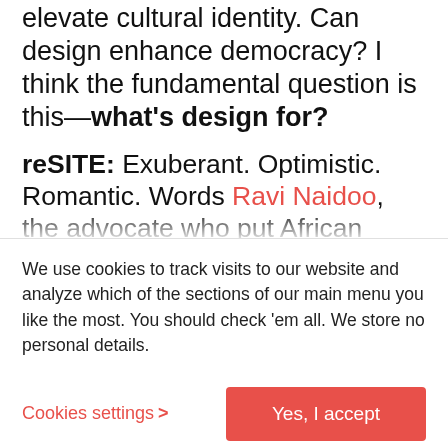elevate cultural identity. Can design enhance democracy? I think the fundamental question is this—what's design for?
reSITE: Exuberant. Optimistic. Romantic. Words Ravi Naidoo, the advocate who put African design on the map, uses to describe himself. Ravi's story is one of reinvention. Just as South Africa was entering a period of newly found democracy, Ravi found an impetus to change his career. Over 20 years later, he is the driving force behind Design Indaba, arguably the most influential design event
We use cookies to track visits to our website and analyze which of the sections of our main menu you like the most. You should check 'em all. We store no personal details.
Cookies settings >
Yes, I accept